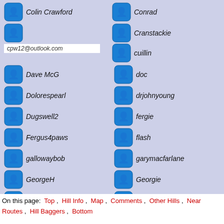Colin Crawford
Conrad
cpw12@outlook.com
Cranstackie
cuillin
Dave McG
doc
Dolorespearl
drjohnyoung
Dugswell2
fergie
Fergus4paws
flash
gallowaybob
garymacfarlane
GeorgeH
Georgie
geralddavison
gerrybowes
gigha
Gman45
GordonAdshead
grahamn
Hikopath
HillmanImp
On this page: Top , Hill Info , Map , Comments , Other Hills , Near Routes , Hill Baggers , Bottom